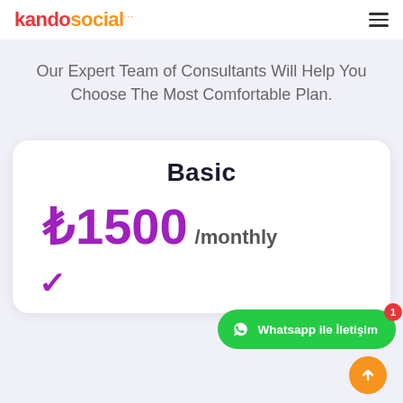kandosocial
Our Expert Team of Consultants Will Help You Choose The Most Comfortable Plan.
Basic
₺1500 /monthly
Whatsapp ile İletişim